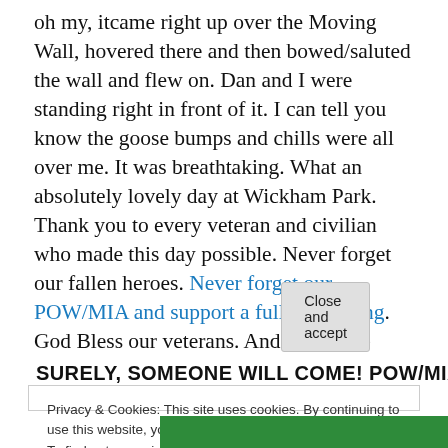oh my, itcame right up over the Moving Wall, hovered there and then bowed/saluted the wall and flew on. Dan and I were standing right in front of it. I can tell you know the goose bumps and chills were all over me. It was breathtaking. What an absolutely lovely day at Wickham Park. Thank you to every veteran and civilian who made this day possible. Never forget our fallen heroes. Never forget our POW/MIA and support a full accounting. God Bless our veterans. And this I take from the jacket of Frank Anton's book (think about this and read the book):
SURELY, SOMEONE WILL COME! POW/MIAs IN S E...
Privacy & Cookies: This site uses cookies. By continuing to use this website, you agree to their use.
To find out more, including how to control cookies, see here: Cookie Policy
Close and accept